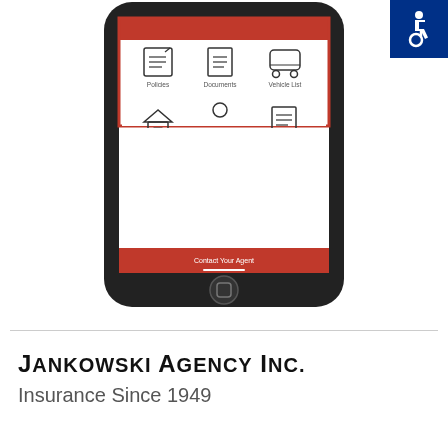[Figure (screenshot): A smartphone displaying an insurance mobile app interface with a red-bordered menu showing icons for Policies, Documents, Vehicle List, Prop Claim, Drivers, Auto Claim, a Contact Your Agent button at the bottom, all on a dark phone frame.]
[Figure (logo): Blue square with white wheelchair accessibility symbol icon in top-right corner.]
Jankowski Agency Inc.
Insurance Since 1949